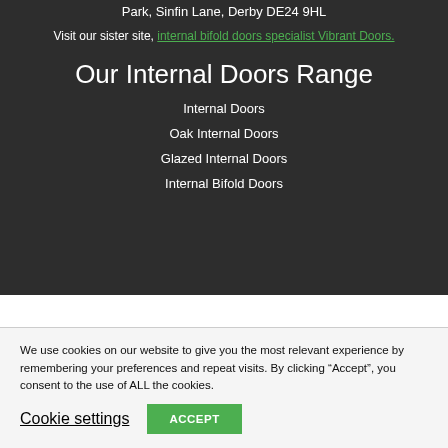Park, Sinfin Lane, Derby DE24 9HL
Visit our sister site, internal bifold doors specialist Vibrant Doors.
Our Internal Doors Range
Internal Doors
Oak Internal Doors
Glazed Internal Doors
Internal Bifold Doors
We use cookies on our website to give you the most relevant experience by remembering your preferences and repeat visits. By clicking “Accept”, you consent to the use of ALL the cookies.
Cookie settings | ACCEPT